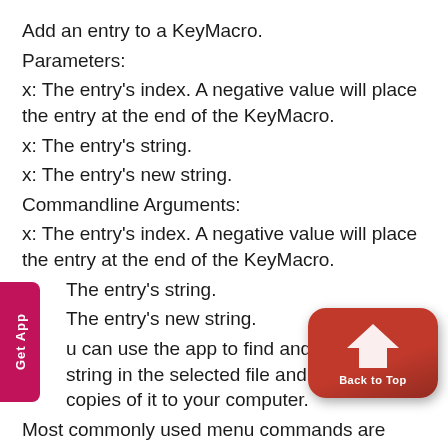Add an entry to a KeyMacro.
Parameters:
x: The entry's index. A negative value will place the entry at the end of the KeyMacro.
x: The entry's string.
x: The entry's new string.
Commandline Arguments:
x: The entry's index. A negative value will place the entry at the end of the KeyMacro.
The entry's string.
The entry's new string.
u can use the app to find and edit a certain string in the selected file and you can save copies of it to your computer.
Most commonly used menu commands are available on the application's toolbar ribbon